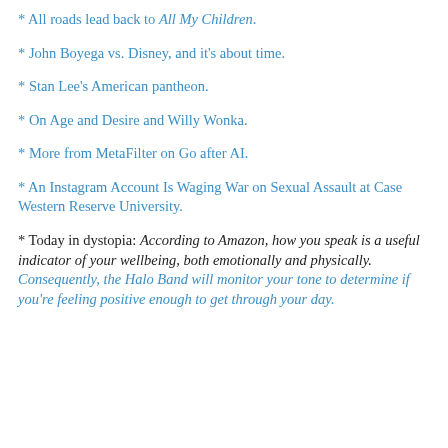* All roads lead back to All My Children.
* John Boyega vs. Disney, and it’s about time.
* Stan Lee’s American pantheon.
* On Age and Desire and Willy Wonka.
* More from MetaFilter on Go after AI.
* An Instagram Account Is Waging War on Sexual Assault at Case Western Reserve University.
* Today in dystopia: According to Amazon, how you speak is a useful indicator of your wellbeing, both emotionally and physically. Consequently, the Halo Band will monitor your tone to determine if you’re feeling positive enough to get through your day.